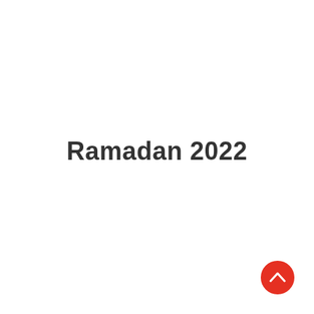Ramadan 2022
[Figure (other): Red circular button with upward-pointing chevron arrow, positioned in the bottom-right corner]